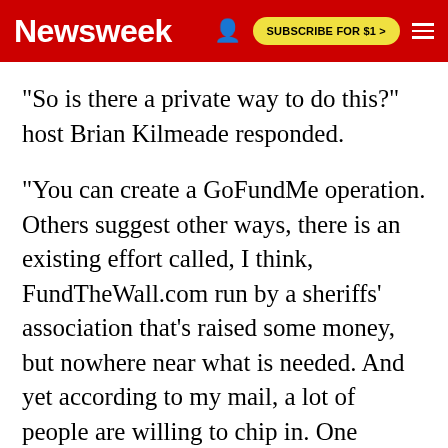Newsweek | SUBSCRIBE FOR $1 >
"So is there a private way to do this?" host Brian Kilmeade responded.
"You can create a GoFundMe operation. Others suggest other ways, there is an existing effort called, I think, FundTheWall.com run by a sheriffs' association that's raised some money, but nowhere near what is needed. And yet according to my mail, a lot of people are willing to chip in. One reader writes to me and says 'if the 63 million people who voted for Donald